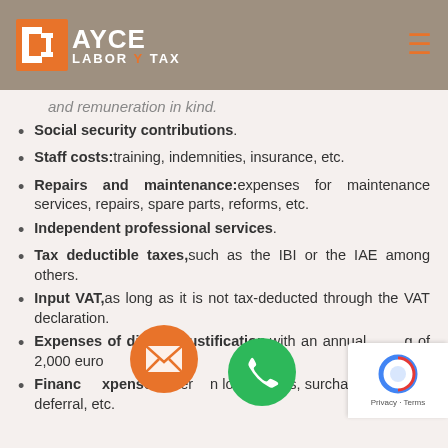AYCE LABOR TAX
and remuneration in kind.
Social security contributions.
Staff costs: training, indemnities, insurance, etc.
Repairs and maintenance: expenses for maintenance services, repairs, spare parts, reforms, etc.
Independent professional services.
Tax deductible taxes, such as the IBI or the IAE among others.
Input VAT, as long as it is not tax-deducted through the VAT declaration.
Expenses of difficult justification, with an annual limit of 2,000 euros.
Financial expenses: interest on loan credits, surcharges for debt deferral, etc.